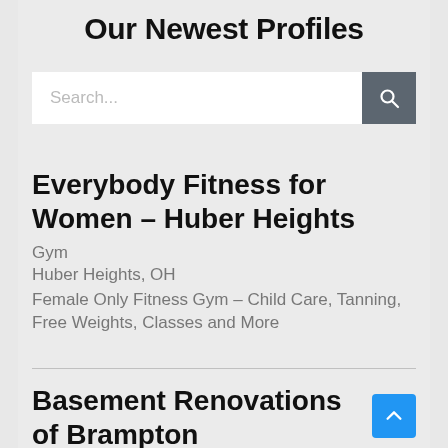Our Newest Profiles
[Figure (screenshot): Search bar with text input field showing placeholder 'Search...' and a dark gray search button with magnifying glass icon]
Everybody Fitness for Women – Huber Heights
Gym
Huber Heights, OH
Female Only Fitness Gym – Child Care, Tanning, Free Weights, Classes and More
Basement Renovations of Brampton